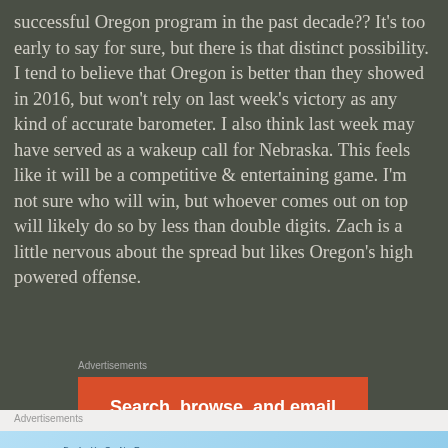successful Oregon program in the past decade?? It's too early to say for sure, but there is that distinct possibility. I tend to believe that Oregon is better than they showed in 2016, but won't rely on last week's victory as any kind of accurate barometer. I also think last week may have served as a wakeup call for Nebraska. This feels like it will be a competitive & entertaining game. I'm not sure who will win, but whoever comes out on top will likely do so by less than double digits. Zach is a little nervous about the spread but likes Oregon's high powered offense.
Advertisements
[Figure (infographic): Orange advertisement banner: 'Search, browse, and email with more privacy. All in One Free App']
Advertisements
[Figure (infographic): DayOne journaling app advertisement: 'The only journaling app you'll ever need.']